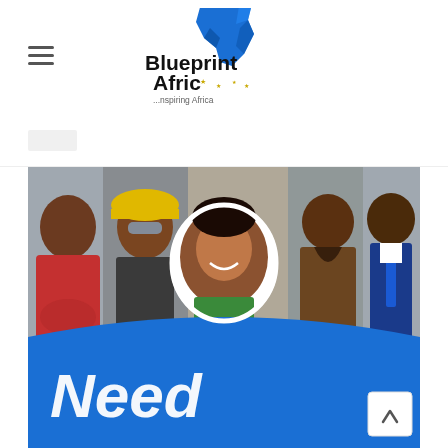Blueprint Afric ...nspiring Africa
[Figure (logo): Blueprint Afric logo with blue Africa continent shape and text 'Blueprint Afric ...nspiring Africa']
[Figure (photo): Collage of African professionals including a woman in red, a man in hard hat and safety goggles, a woman in circle frame (center), a man in brown jacket, and a man in blue suit. Blue banner at bottom reads 'Need' in large white italic text.]